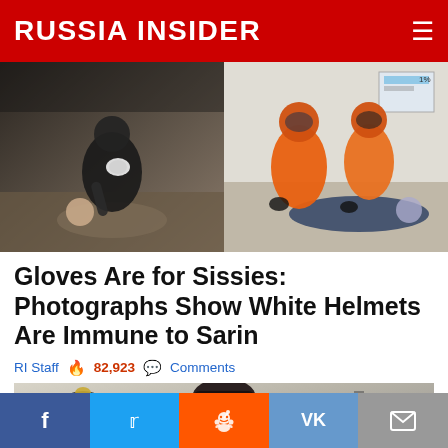RUSSIA INSIDER
[Figure (photo): Two side-by-side photos: left shows a White Helmets worker in dark gear handling a child on the ground without gloves; right shows emergency responders in full orange hazmat suits attending to a person on the floor]
Gloves Are for Sissies: Photographs Show White Helmets Are Immune to Sarin
RI Staff  82,923  Comments
[Figure (photo): Black and white photo of a young person with dark short hair, hands raised, partial view]
f  (Twitter bird)  (Reddit alien)  VK  (envelope icon)